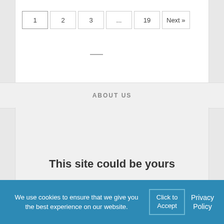1  2  3  ...  19  Next »
ABOUT US
This site could be yours
Troy Media is a nationally-recognized editorial content provider to media outlets and its own
We use cookies to ensure that we give you the best experience on our website.  Click to Accept  Privacy Policy